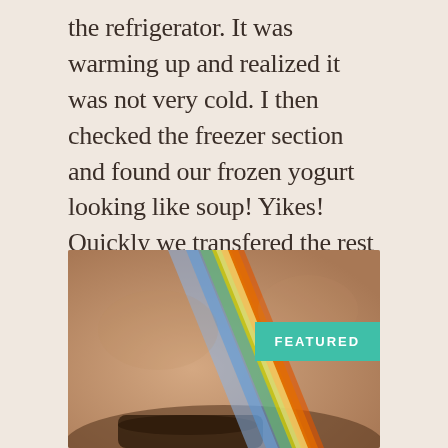the refrigerator. It was warming up and realized it was not very cold. I then checked the freezer section and found our frozen yogurt looking like soup! Yikes! Quickly we transfered the rest of our freezer items to our stand up freezer (thanking God we … Continue reading
[Figure (photo): Close-up photo of a person's forehead and eyebrow with a rainbow light streak (prism effect) crossing diagonally across the skin. A teal 'FEATURED' badge overlays the upper right corner of the image.]